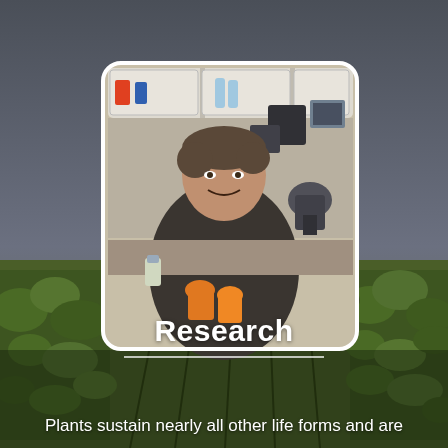[Figure (photo): Background: vineyard rows with green leafy vines and overcast grey sky. Foreground: scientist sitting in a laboratory with microscope, lab equipment, shelving with supplies, holding orange-capped tubes.]
Research
Plants sustain nearly all other life forms and are